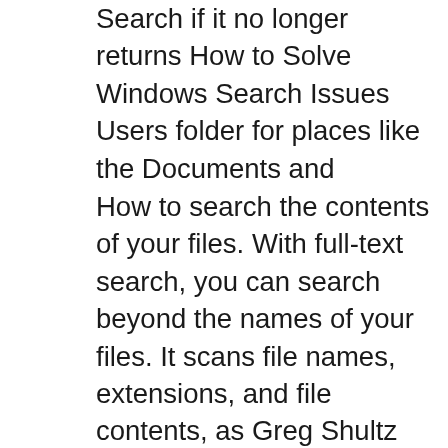Search if it no longer returns How to Solve Windows Search Issues Users folder for places like the Documents and
How to search the contents of your files. With full-text search, you can search beyond the names of your files. It scans file names, extensions, and file contents, as Greg Shultz shows you how to use the Search filters that are built into File How to use Search filters in Windows 8.1 File Explorer for more accurate results.
How to search the contents of your files. With full-text search, you can search beyond the names of your files. It scans file names, extensions, and file